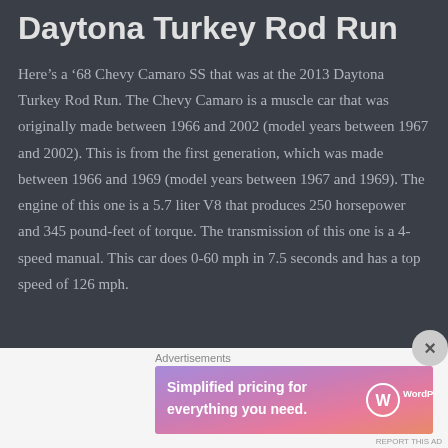Daytona Turkey Rod Run
Here’s a ’68 Chevy Camaro SS that was at the 2013 Daytona Turkey Rod Run. The Chevy Camaro is a muscle car that was originally made between 1966 and 2002 (model years between 1967 and 2002). This is from the first generation, which was made between 1966 and 1969 (model years between 1967 and 1969). The engine of this one is a 5.7 liter V8 that produces 250 horsepower and 345 pound-feet of torque. The transmission of this one is a 4-speed manual. This car does 0-60 mph in 7.5 seconds and has a top speed of 126 mph.
[Figure (infographic): WordPress.com advertisement banner: 'Simplified pricing for everything you need.' with WordPress.com logo on gradient pink/purple background]